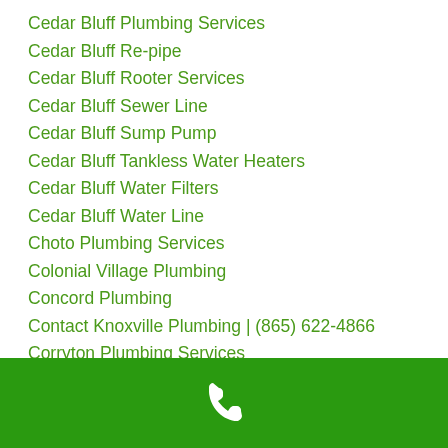Cedar Bluff Plumbing Services
Cedar Bluff Re-pipe
Cedar Bluff Rooter Services
Cedar Bluff Sewer Line
Cedar Bluff Sump Pump
Cedar Bluff Tankless Water Heaters
Cedar Bluff Water Filters
Cedar Bluff Water Line
Choto Plumbing Services
Colonial Village Plumbing
Concord Plumbing
Contact Knoxville Plumbing | (865) 622-4866
Corryton Plumbing Services
Coupons
[Figure (other): Green footer bar with white phone icon]